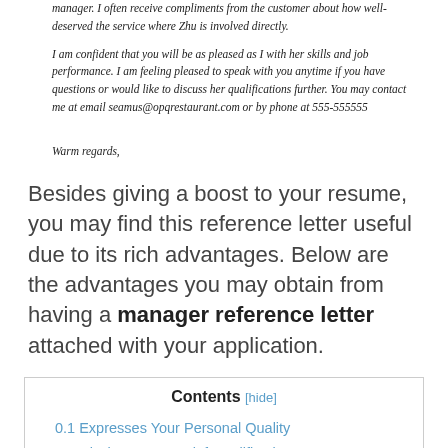manager. I often receive compliments from the customer about how well-deserved the service where Zhu is involved directly.
I am confident that you will be as pleased as I with her skills and job performance. I am feeling pleased to speak with you anytime if you have questions or would like to discuss her qualifications further. You may contact me at email seamus@opqrestaurant.com or by phone at 555-555555
Warm regards,
Besides giving a boost to your resume, you may find this reference letter useful due to its rich advantages. Below are the advantages you may obtain from having a manager reference letter attached with your application.
Contents [hide]
0.1 Expresses Your Personal Quality
0.2 Discloses Your Brief Qualifications
0.3 Endorses Yourself